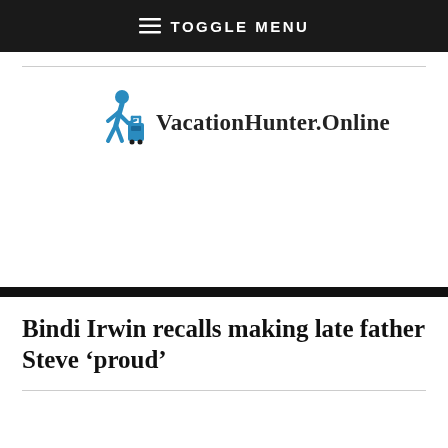≡ TOGGLE MENU
[Figure (logo): VacationHunter.Online logo with a blue walking person with luggage icon followed by the text VacationHunter.Online in serif font]
Bindi Irwin recalls making late father Steve 'proud'